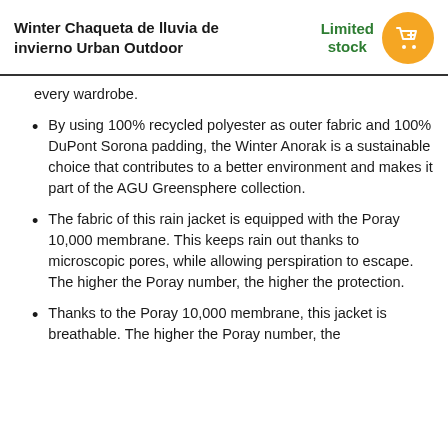Winter Chaqueta de lluvia de invierno Urban Outdoor
Limited stock
every wardrobe.
By using 100% recycled polyester as outer fabric and 100% DuPont Sorona padding, the Winter Anorak is a sustainable choice that contributes to a better environment and makes it part of the AGU Greensphere collection.
The fabric of this rain jacket is equipped with the Poray 10,000 membrane. This keeps rain out thanks to microscopic pores, while allowing perspiration to escape. The higher the Poray number, the higher the protection.
Thanks to the Poray 10,000 membrane, this jacket is breathable. The higher the Poray number, the